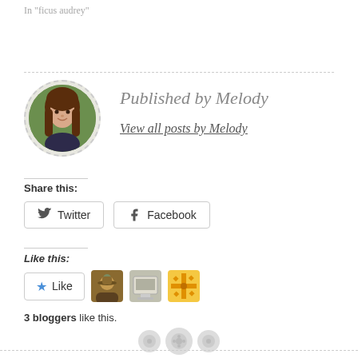In "ficus audrey"
[Figure (photo): Circular portrait photo of Melody, a woman with long brown hair wearing a dark top, in an outdoor setting]
Published by Melody
View all posts by Melody
Share this:
Twitter
Facebook
Like this:
Like
3 bloggers like this.